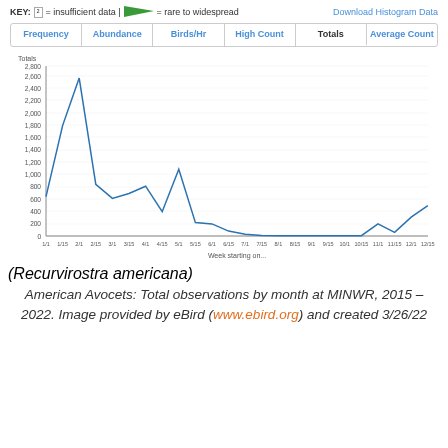KEY: = insufficient data | = rare to widespread
[Figure (line-chart): Totals]
American Avocets: Total observations by month at MINWR, 2015 – 2022. Image provided by eBird (www.ebird.org) and created 3/26/22